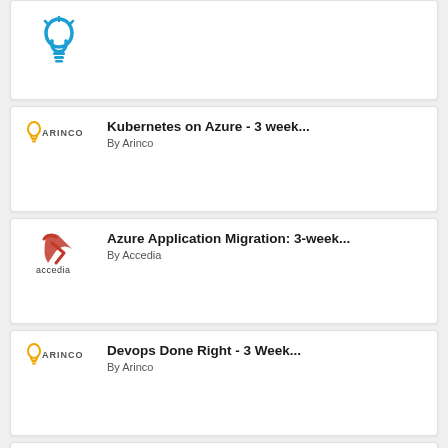[Figure (logo): Blue lightbulb icon (partial card at top)]
Kubernetes on Azure - 3 week...
By Arinco
Azure Application Migration: 3-week...
By Accedia
Devops Done Right - 3 Week...
By Arinco
Azure Cost Optimization: 2-Week...
By Accedia